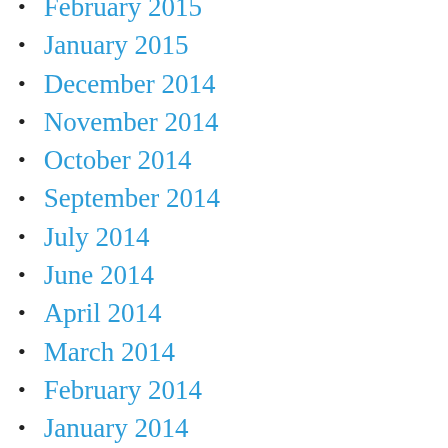February 2015
January 2015
December 2014
November 2014
October 2014
September 2014
July 2014
June 2014
April 2014
March 2014
February 2014
January 2014
December 2013
November 2013
October 2013
September 2013